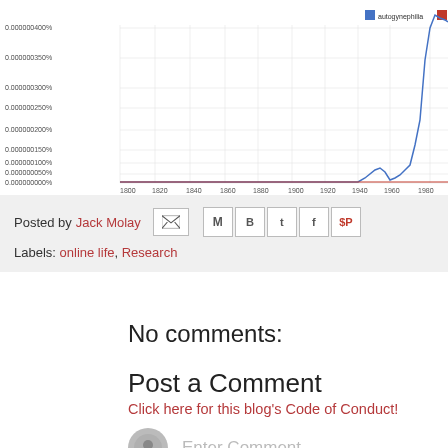[Figure (continuous-plot): Line chart showing ngram frequency over time (~1800-1980) for two terms: 'autogynephilia' (blue) and 'autoerotophilia' (red). The blue line shows a dramatic spike near 1980 reaching ~0.0000004000%, while the red line stays near zero throughout. Y-axis shows percentages from 0.0000000000% to 0.0000004000%.]
Posted by Jack Molay     Labels: online life, Research
No comments:
Post a Comment
Click here for this blog's Code of Conduct!
Enter Comment